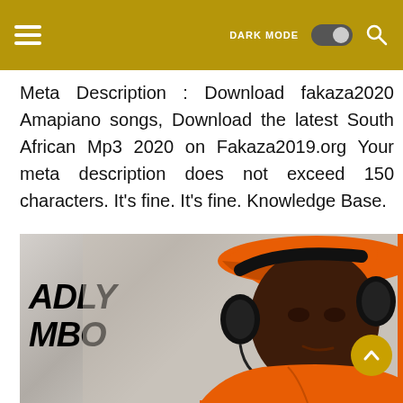Navigation bar with hamburger menu, DARK MODE toggle, and search icon
Meta Description : Download fakaza2020 Amapiano songs, Download the latest South African Mp3 2020 on Fakaza2019.org Your meta description does not exceed 150 characters. It's fine. It's fine. Knowledge Base.
[Figure (photo): Photo of a man wearing an orange hoodie and orange cap with black over-ear headphones, with text 'ADLY MBO' visible on the left side background]